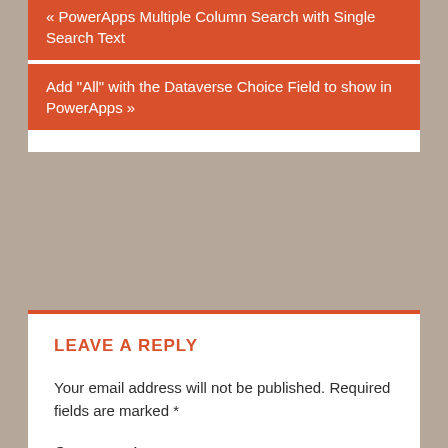PowerApps Multiple Column Search with Single Search Text
Add “All” with the Dataverse Choice Field to show in PowerApps »
LEAVE A REPLY
Your email address will not be published. Required fields are marked *
Comment *